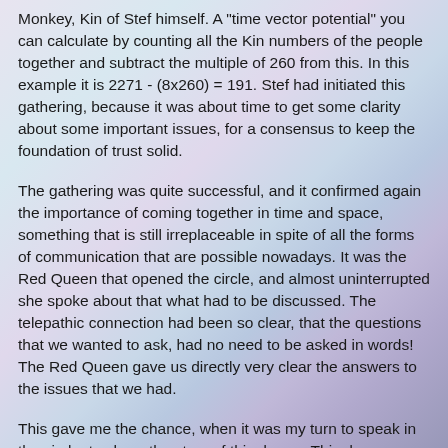Monkey, Kin of Stef himself. A "time vector potential" you can calculate by counting all the Kin numbers of the people together and subtract the multiple of 260 from this. In this example it is 2271 - (8x260) = 191. Stef had initiated this gathering, because it was about time to get some clarity about some important issues, for a consensus to keep the foundation of trust solid.
The gathering was quite successful, and it confirmed again the importance of coming together in time and space, something that is still irreplaceable in spite of all the forms of communication that are possible nowadays. It was the Red Queen that opened the circle, and almost uninterrupted she spoke about that what had to be discussed. The telepathic connection had been so clear, that the questions that we wanted to ask, had no need to be asked in words! The Red Queen gave us directly very clear the answers to the issues that we had.
This gave me the chance, when it was my turn to speak in the circle, to share the story of this dream. This dream came literally true at that moment, Blue Cosmic Eagle, and so it was clear, without a preconceived plan, on a self-explanatory and natural spontaneous way, what my contribution is and what role I play in this story, not an unimportant acknowledgement for myself!
After the gathering we enjoyed a lunch together, and while I was